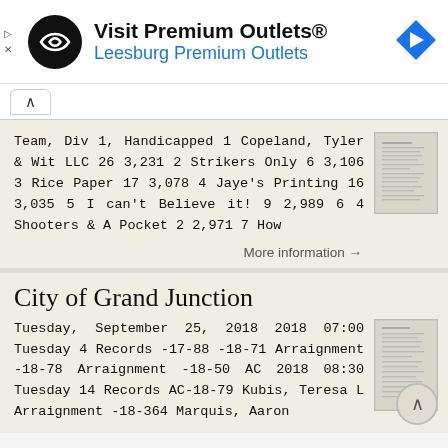[Figure (screenshot): Advertisement banner for Visit Premium Outlets / Leesburg Premium Outlets with logo and navigation icon]
Team, Div 1, Handicapped 1 Copeland, Tyler & Wit LLC 26 3,231 2 Strikers Only 6 3,106 3 Rice Paper 17 3,078 4 Jaye's Printing 16 3,035 5 I can't Believe it! 9 2,989 6 4 Shooters & A Pocket 2 2,971 7 How
More information →
City of Grand Junction
Tuesday, September 25, 2018 2018 07:00 Tuesday 4 Records -17-88 -18-71 Arraignment -18-78 Arraignment -18-50 AC 2018 08:30 Tuesday 14 Records AC-18-79 Kubis, Teresa L Arraignment -18-364 Marquis, Aaron